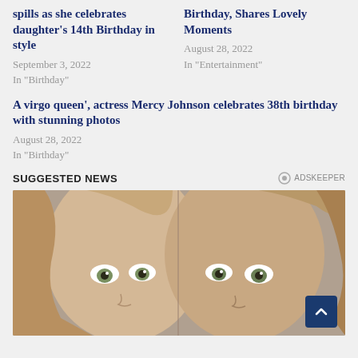spills as she celebrates daughter's 14th Birthday in style
September 3, 2022
In "Birthday"
Birthday, Shares Lovely Moments
August 28, 2022
In "Entertainment"
A virgo queen', actress Mercy Johnson celebrates 38th birthday with stunning photos
August 28, 2022
In "Birthday"
SUGGESTED NEWS
[Figure (photo): Close-up portrait photo of two young girls with light brown hair and green eyes, faces close together, looking at camera]